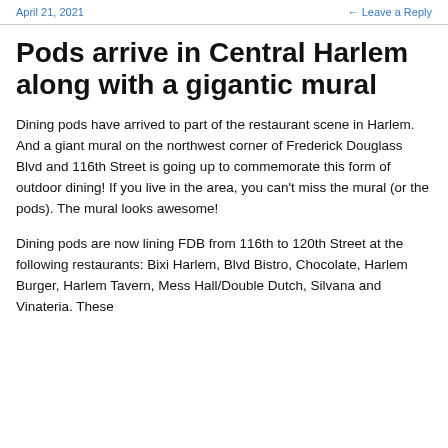April 21, 2021    ← Leave a Reply
Pods arrive in Central Harlem along with a gigantic mural
Dining pods have arrived to part of the restaurant scene in Harlem. And a giant mural on the northwest corner of Frederick Douglass Blvd and 116th Street is going up to commemorate this form of outdoor dining! If you live in the area, you can't miss the mural (or the pods). The mural looks awesome!
Dining pods are now lining FDB from 116th to 120th Street at the following restaurants: Bixi Harlem, Blvd Bistro, Chocolate, Harlem Burger, Harlem Tavern, Mess Hall/Double Dutch, Silvana and Vinateria. These